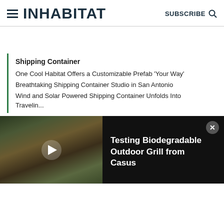INHABITAT  SUBSCRIBE
Shipping Container
One Cool Habitat Offers a Customizable Prefab 'Your Way'
Breathtaking Shipping Container Studio in San Antonio
Wind and Solar Powered Shipping Container Unfolds Into Travelin...
Modular Structure
Eathouse: A Fresh, Local Take on Edible Architecture
[Figure (screenshot): Video thumbnail of a biodegradable outdoor grill with dark overlay bar showing title 'Testing Biodegradable Outdoor Grill from Casus' and a play button]
Testing Biodegradable Outdoor Grill from Casus